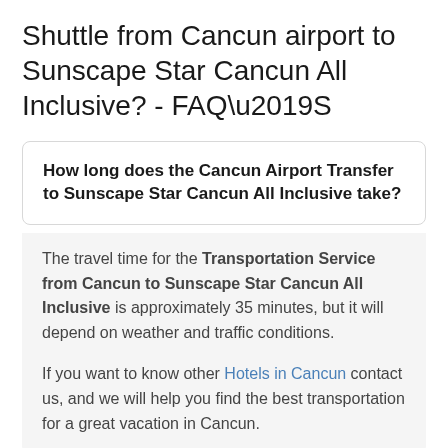Shuttle from Cancun airport to Sunscape Star Cancun All Inclusive? - FAQ’S
How long does the Cancun Airport Transfer to Sunscape Star Cancun All Inclusive take?
The travel time for the Transportation Service from Cancun to Sunscape Star Cancun All Inclusive is approximately 35 minutes, but it will depend on weather and traffic conditions.
If you want to know other Hotels in Cancun contact us, and we will help you find the best transportation for a great vacation in Cancun.